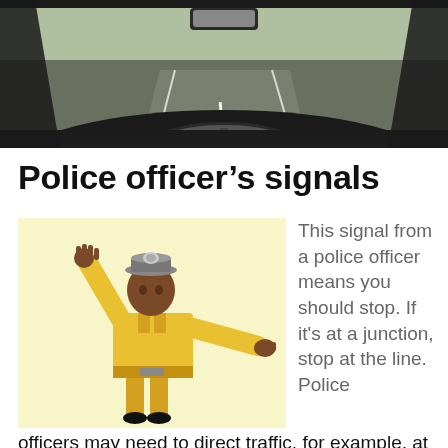[Figure (photo): View from inside a car looking through the windshield at a road with lane markings, showing the steering wheel and dashboard.]
Police officer’s signals
[Figure (illustration): A police officer in a yellow uniform and white cap with one arm raised up and the other extended sideways, giving a traffic stop signal, against a light yellow background.]
This signal from a police officer means you should stop. If it's at a junction, stop at the line. Police officers may need to direct traffic, for example, at a junction where the traffic lights have broken down, or if there's an accident or an incident.